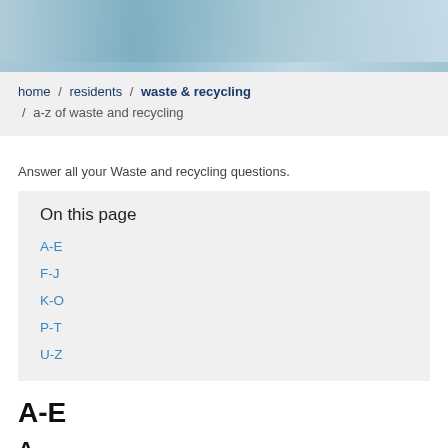[Figure (photo): Hero image showing people in blue/grey tones, partially cropped at top]
home / residents / waste & recycling / a-z of waste and recycling
Answer all your Waste and recycling questions.
On this page
A-E
F-J
K-O
P-T
U-Z
A-E
A